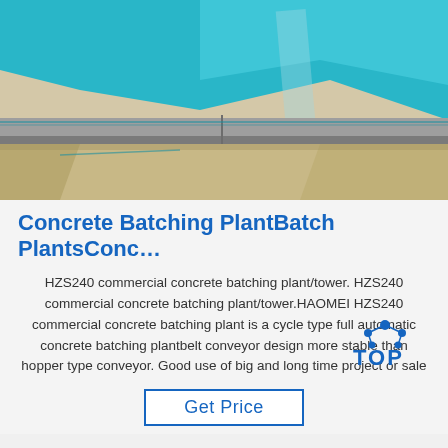[Figure (photo): Close-up photo of concrete batching plant materials: blue tarpaulin/plastic sheeting over grey metal beams, tan/beige packaging material in foreground]
Concrete Batching PlantBatch PlantsConc…
HZS240 commercial concrete batching plant/tower. HZS240 commercial concrete batching plant/tower.HAOMEI HZS240 commercial concrete batching plant is a cycle type full automatic concrete batching plantbelt conveyor design more stable than hopper type conveyor. Good use of big and long time project or sale
[Figure (logo): TOP logo with blue molecular/atom icon above the letters TOP in blue]
Get Price